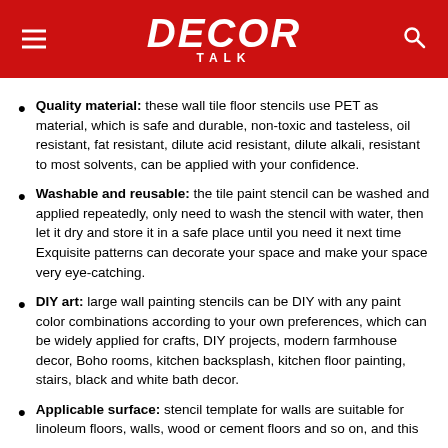DECOR TALK
Quality material: these wall tile floor stencils use PET as material, which is safe and durable, non-toxic and tasteless, oil resistant, fat resistant, dilute acid resistant, dilute alkali, resistant to most solvents, can be applied with your confidence.
Washable and reusable: the tile paint stencil can be washed and applied repeatedly, only need to wash the stencil with water, then let it dry and store it in a safe place until you need it next time Exquisite patterns can decorate your space and make your space very eye-catching.
DIY art: large wall painting stencils can be DIY with any paint color combinations according to your own preferences, which can be widely applied for crafts, DIY projects, modern farmhouse decor, Boho rooms, kitchen backsplash, kitchen floor painting, stairs, black and white bath decor.
Applicable surface: stencil template for walls are suitable for linoleum floors, walls, wood or cement floors and so on, and this